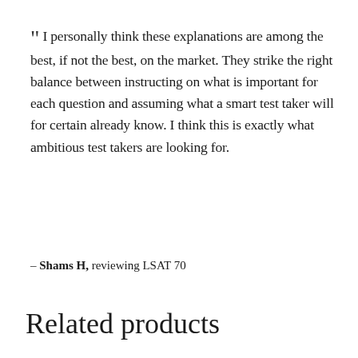“ I personally think these explanations are among the best, if not the best, on the market. They strike the right balance between instructing on what is important for each question and assuming what a smart test taker will for certain already know. I think this is exactly what ambitious test takers are looking for.
– Shams H, reviewing LSAT 70
Related products